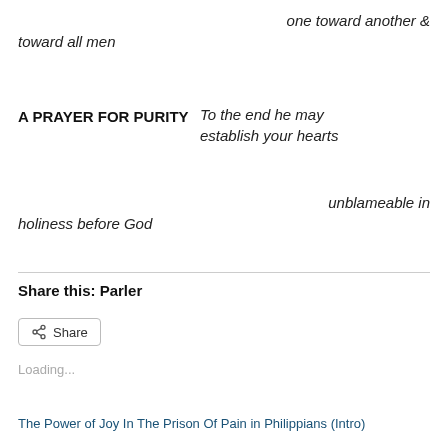one toward another & toward all men
A PRAYER FOR PURITY
To the end he may establish your hearts
unblameable in holiness before God
Share this: Parler
Share
Loading...
The Power of Joy In The Prison Of Pain in Philippians (Intro)